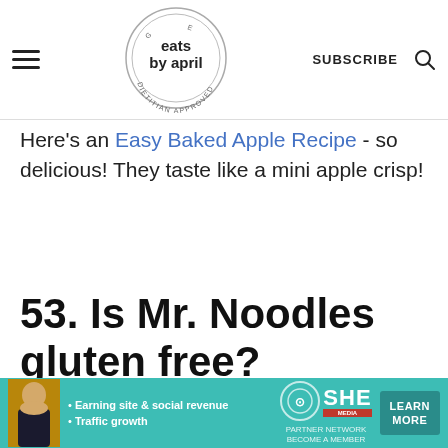eats by april — DIETITIAN APPROVED — SUBSCRIBE
Here's an Easy Baked Apple Recipe - so delicious! They taste like a mini apple crisp!
53. Is Mr. Noodles gluten free?
No, Mr. Noodles is not gluten free as the
[Figure (infographic): SHE Media partner network advertisement banner with woman photo, bullet points about earning site & social revenue and traffic growth, SHE logo, and Learn More button]